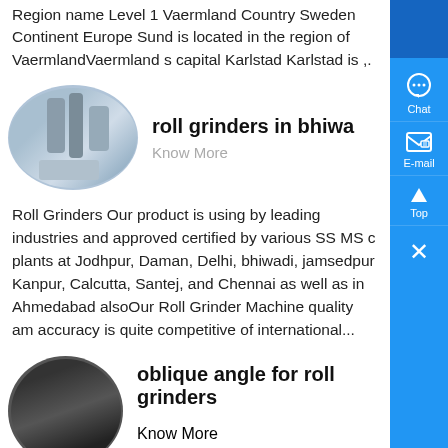Region name Level 1 Vaermland Country Sweden Continent Europe Sund is located in the region of VaermlandVaermland s capital Karlstad Karlstad is ,.
[Figure (photo): Industrial machinery with silos/pipes shown in an oval-cropped image]
roll grinders in bhiwa
Know More
Roll Grinders Our product is using by leading industries and approved certified by various SS MS c plants at Jodhpur, Daman, Delhi, bhiwadi, jamsedpur Kanpur, Calcutta, Santej, and Chennai as well as in Ahmedabad alsoOur Roll Grinder Machine quality am accuracy is quite competitive of international...
[Figure (photo): Dark interior of industrial roll grinder machinery shown in oval-cropped image]
oblique angle for roll grinders
Know More